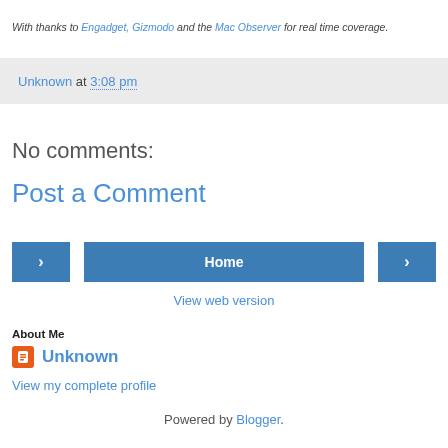With thanks to Engadget, Gizmodo and the Mac Observer for real time coverage.
Unknown at 3:08 pm
No comments:
Post a Comment
< Home >
View web version
About Me
Unknown
View my complete profile
Powered by Blogger.